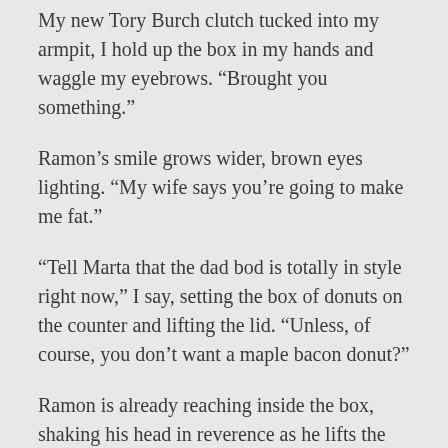My new Tory Burch clutch tucked into my armpit, I hold up the box in my hands and waggle my eyebrows. “Brought you something.”
Ramon’s smile grows wider, brown eyes lighting. “My wife says you’re going to make me fat.”
“Tell Marta that the dad bod is totally in style right now,” I say, setting the box of donuts on the counter and lifting the lid. “Unless, of course, you don’t want a maple bacon donut?”
Ramon is already reaching inside the box, shaking his head in reverence as he lifts the sugary treat. “Still warm.”
“Well, technically the shop doesn’t open until five, but I’m such a loyal customer, they let me in a bit early,” I